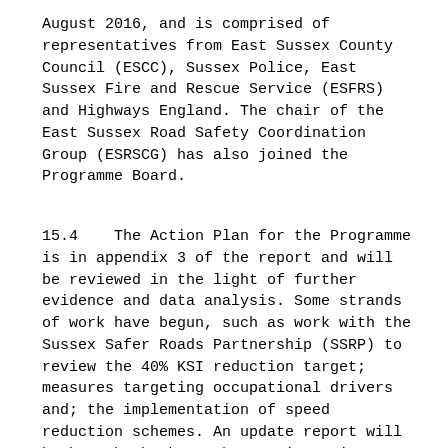August 2016, and is comprised of representatives from East Sussex County Council (ESCC), Sussex Police, East Sussex Fire and Rescue Service (ESFRS) and Highways England. The chair of the East Sussex Road Safety Coordination Group (ESRSCG) has also joined the Programme Board.
15.4    The Action Plan for the Programme is in appendix 3 of the report and will be reviewed in the light of further evidence and data analysis. Some strands of work have begun, such as work with the Sussex Safer Roads Partnership (SSRP) to review the 40% KSI reduction target; measures targeting occupational drivers and; the implementation of speed reduction schemes. An update report will be brought back to the Committee in June 2017, once further analysis and progress has been made on the project.
15.5    The Committee made a number of comments on the East Sussex Road Safety Programme, which are